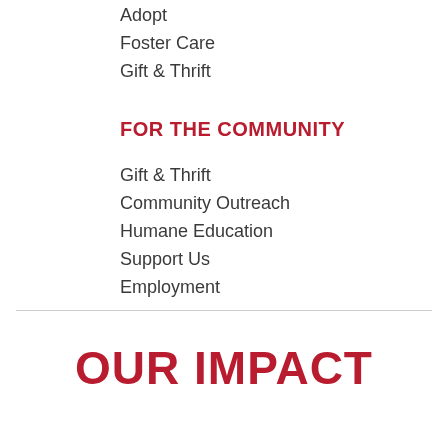Adopt
Foster Care
Gift & Thrift
FOR THE COMMUNITY
Gift & Thrift
Community Outreach
Humane Education
Support Us
Employment
OUR IMPACT